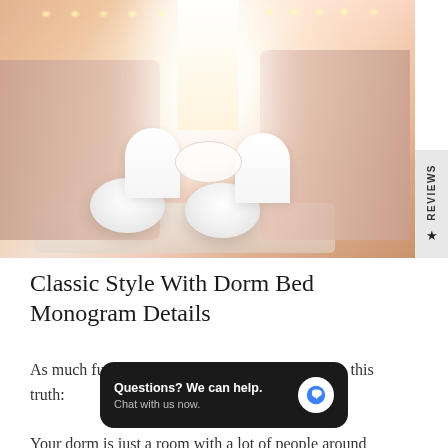[Figure (photo): A cozy dorm room with two beds on either side decorated with pink and white bedding, fairy lights, white fluffy poufs on the floor, white furry chairs, a small round table in the center, and a sheer curtain window in the background.]
Classic Style With Dorm Bed Monogram Details
As much fun as [decorating a] dorm, there's also this truth:
[Figure (screenshot): Chat widget overlay with dark background reading 'Questions? We can help. Chat with us now.' with a blue speech bubble icon.]
Your dorm is just a room with a lot of people around...